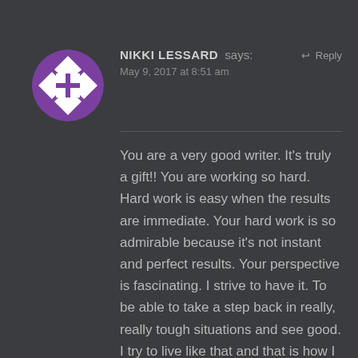[Figure (illustration): Purple and white checkered pattern avatar inside a circular frame]
NIKKI LESSARD says:
May 9, 2017 at 8:51 am
↩ Reply
You are a very good writer. It's truly a gift!! You are working so hard. Hard work is easy when the results are immediate. Your hard work is so admirable because it's not instant and perfect results. Your perspective is fascinating. I strive to have it. To be able to take a step back in really, really tough situations and see good. I try to live like that and that is how I try to raise my kids. I have some people in my life that aren't facing challenges and can't see any